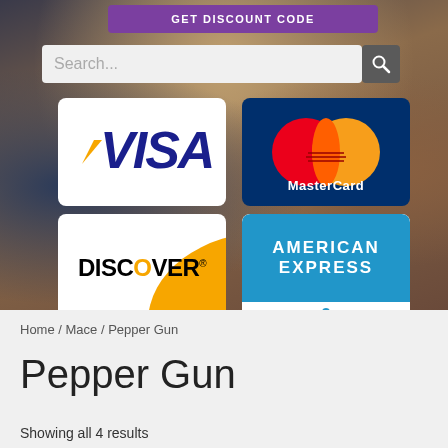[Figure (screenshot): E-commerce website screenshot showing a search bar, promotional button, and payment method logos (Visa, MasterCard, Discover, American Express) over a background photo of people smiling]
Home / Mace / Pepper Gun
Pepper Gun
Showing all 4 results